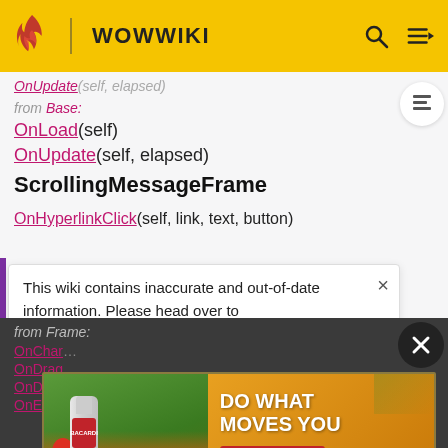WOWWIKI
OnUpdate(self, elapsed)
from Base:
OnLoad(self)
OnUpdate(self, elapsed)
ScrollingMessageFrame
OnHyperlinkClick(self, link, text, button)
This wiki contains inaccurate and out-of-date information. Please head over to https://wowpedia.fandom.com for more accurate and up-to-date game information.
from Frame:
OnChar
OnDrag
OnDrag
OnEnter(self, /action)
[Figure (photo): Bacardi rum advertisement with text DO WHAT MOVES YOU and SHOP NOW button, featuring tropical fruits and a Bacardi bottle]